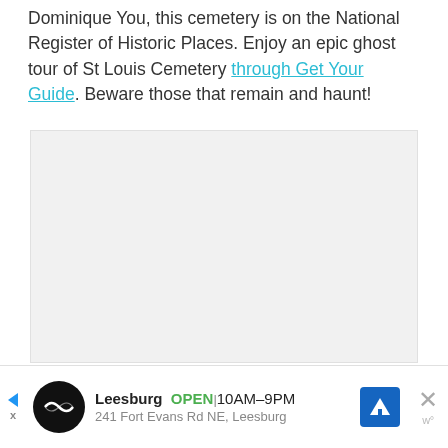Dominique You, this cemetery is on the National Register of Historic Places. Enjoy an epic ghost tour of St Louis Cemetery through Get Your Guide. Beware those that remain and haunt!
[Figure (photo): Large light gray rectangular placeholder image area]
Leesburg  OPEN  10AM–9PM  241 Fort Evans Rd NE, Leesburg